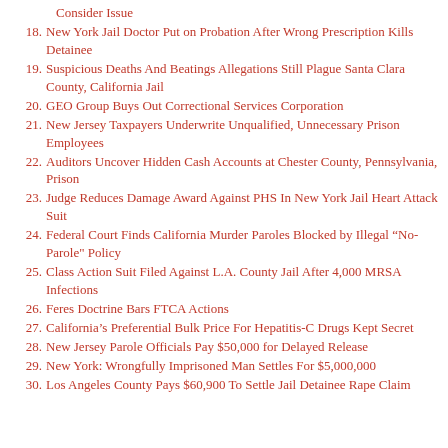Consider Issue
18. New York Jail Doctor Put on Probation After Wrong Prescription Kills Detainee
19. Suspicious Deaths And Beatings Allegations Still Plague Santa Clara County, California Jail
20. GEO Group Buys Out Correctional Services Corporation
21. New Jersey Taxpayers Underwrite Unqualified, Unnecessary Prison Employees
22. Auditors Uncover Hidden Cash Accounts at Chester County, Pennsylvania, Prison
23. Judge Reduces Damage Award Against PHS In New York Jail Heart Attack Suit
24. Federal Court Finds California Murder Paroles Blocked by Illegal “No-Parole&quot; Policy
25. Class Action Suit Filed Against L.A. County Jail After 4,000 MRSA Infections
26. Feres Doctrine Bars FTCA Actions
27. California’s Preferential Bulk Price For Hepatitis-C Drugs Kept Secret
28. New Jersey Parole Officials Pay $50,000 for Delayed Release
29. New York: Wrongfully Imprisoned Man Settles For $5,000,000
30. Los Angeles County Pays $60,900 To Settle Jail Detainee Rape Claim